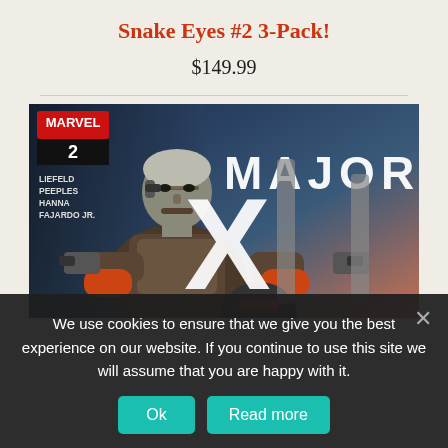Snake Eyes #2 3-Pack!
$149.99
[Figure (illustration): Comic book cover for Major X #2, Marvel Comics. Features a muscular grey-haired character in armor holding weapons, with large white 'MAJOR X' lettering. Credits: Liefeld, Peeples, Hanna, Fajardo Jr. Issue number 2 shown in Marvel logo box.]
We use cookies to ensure that we give you the best experience on our website. If you continue to use this site we will assume that you are happy with it.